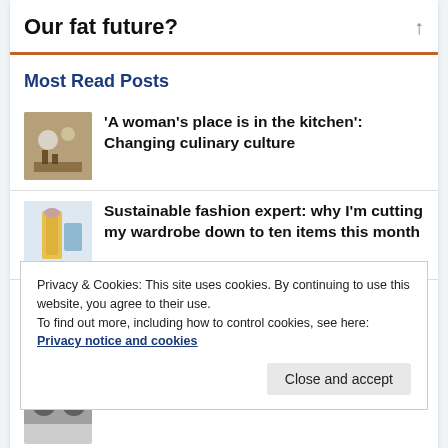Our fat future?
Most Read Posts
'A woman's place is in the kitchen': Changing culinary culture
Sustainable fashion expert: why I'm cutting my wardrobe down to ten items this month
What your T-shirt reveals about 'carbon colonialism' and the global economy's vast
Privacy & Cookies: This site uses cookies. By continuing to use this website, you agree to their use. To find out more, including how to control cookies, see here: Privacy notice and cookies
urban cycling: our research shows how